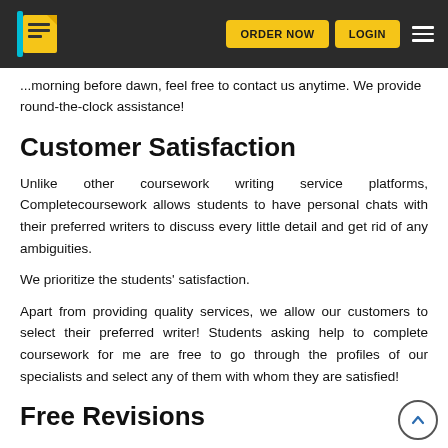ORDER NOW | LOGIN
...morning before dawn, feel free to contact us anytime. We provide round-the-clock assistance!
Customer Satisfaction
Unlike other coursework writing service platforms, Completecoursework allows students to have personal chats with their preferred writers to discuss every little detail and get rid of any ambiguities.
We prioritize the students' satisfaction.
Apart from providing quality services, we allow our customers to select their preferred writer! Students asking help to complete coursework for me are free to go through the profiles of our specialists and select any of them with whom they are satisfied!
Free Revisions
As stated earlier, what we care for most is students' satisfaction–we assure you with 100% refund in case our